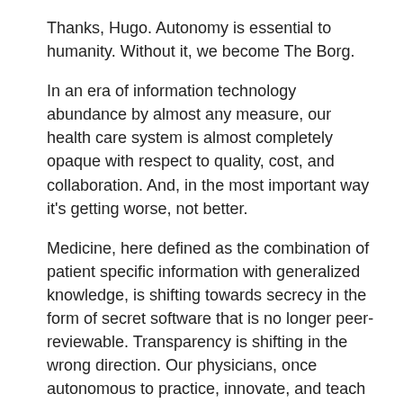Thanks, Hugo. Autonomy is essential to humanity. Without it, we become The Borg.
In an era of information technology abundance by almost any measure, our health care system is almost completely opaque with respect to quality, cost, and collaboration. And, in the most important way it's getting worse, not better.
Medicine, here defined as the combination of patient specific information with generalized knowledge, is shifting towards secrecy in the form of secret software that is no longer peer-reviewable. Transparency is shifting in the wrong direction. Our physicians, once autonomous to practice, innovate, and teach under a professional license have now become the agents of the institution.